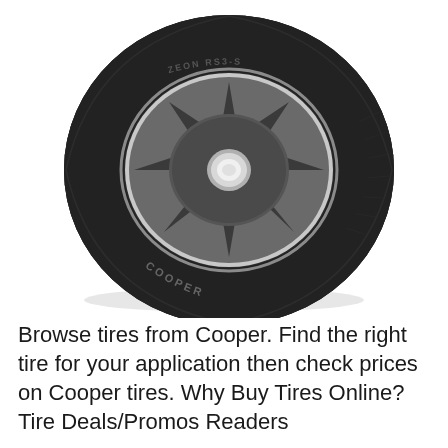[Figure (photo): A Cooper Zeon RS3-S tire mounted on a multi-spoke dark alloy wheel with a chrome lip, photographed at an angle on a white background. The tire sidewall shows 'COOPER' branding and 'ZEON RS3-S' on the tread area.]
Browse tires from Cooper. Find the right tire for your application then check prices on Cooper tires. Why Buy Tires Online? Tire Deals/Promos Readers